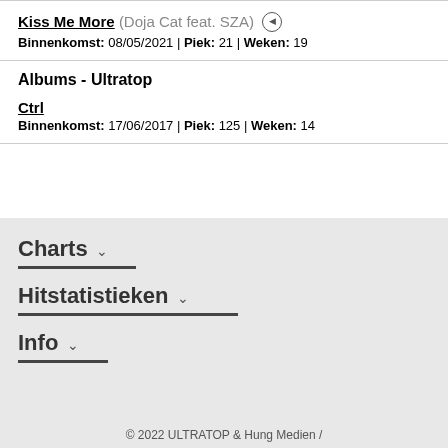Kiss Me More (Doja Cat feat. SZA) [play icon] Binnenkomst: 08/05/2021 | Piek: 21 | Weken: 19
Albums - Ultratop
Ctrl Binnenkomst: 17/06/2017 | Piek: 125 | Weken: 14
Charts ∨
Hitstatistieken ∨
Info ∨
© 2022 ULTRATOP & Hung Medien /